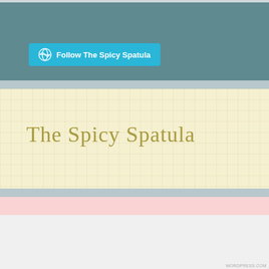[Figure (screenshot): WordPress Follow button widget with cyan/teal background reading 'Follow The Spicy Spatula']
The Spicy Spatula
[Figure (screenshot): Pink advertisement section with WordPress VIP logo and 'Learn more' button on gradient banner]
Advertisements